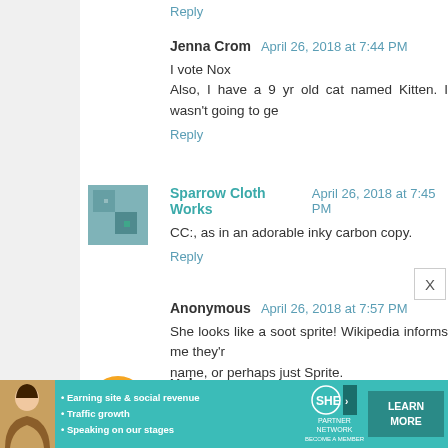Reply
Jenna Crom  April 26, 2018 at 7:44 PM
I vote Nox
Also, I have a 9 yr old cat named Kitten. I wasn't going to ge
Reply
[Figure (photo): Small avatar image for Sparrow Cloth Works, appears to be a tiled/patterned image in blue-green tones]
Sparrow Cloth Works  April 26, 2018 at 7:45 PM
CC:, as in an adorable inky carbon copy.
Reply
Anonymous  April 26, 2018 at 7:57 PM
She looks like a soot sprite! Wikipedia informs me they're name, or perhaps just Sprite.
Reply
[Figure (logo): Orange circle avatar/logo for Blogger user Unknown]
Unknown  April 26, 2018 at 7:58 PM
[Figure (infographic): SHE Partner Network advertisement banner with learn more button. Text: Earning site & social revenue, Traffic growth, Speaking on our stages]